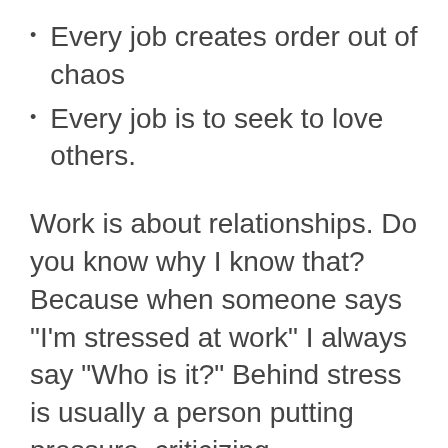Every job creates order out of chaos
Every job is to seek to love others.
Work is about relationships. Do you know why I know that? Because when someone says “I'm stressed at work” I always say “Who is it?” Behind stress is usually a person putting pressure, criticizing, undermining, gossiping, unrealistic deadlines, etc. It's not